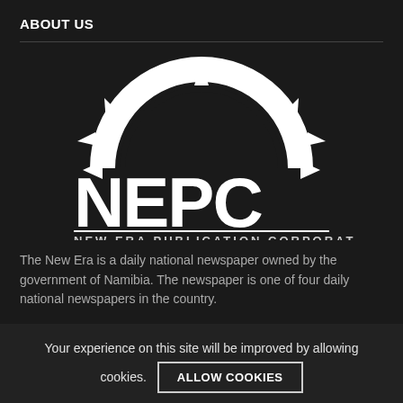ABOUT US
[Figure (logo): NEPC - New Era Publication Corporation logo: white sun/rays rising over an arc above bold white letters 'NEPC', with 'NEW ERA PUBLICATION CORPORATION' in spaced capitals below]
The New Era is a daily national newspaper owned by the government of Namibia. The newspaper is one of four daily national newspapers in the country.
POPULAR POSTS
Your experience on this site will be improved by allowing cookies.
ALLOW COOKIES